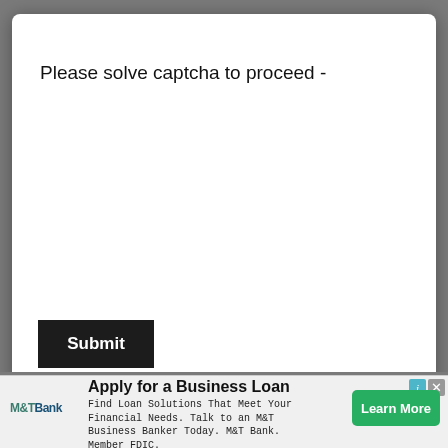Please solve captcha to proceed -
Submit
appreciates a Scorsese movie. She is a great enthusiast of abstract art and anime. Painting her mind and doodling things frequently lying on her desk, are her escapades.
[Figure (screenshot): Chevron/down arrow button]
Apply for a Business Loan
Find Loan Solutions That Meet Your Financial Needs. Talk to an M&T Business Banker Today. M&T Bank. Member FDIC.
Learn More
M&T Bank